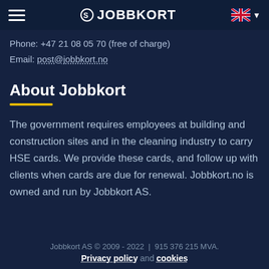JOBBKORT
Phone: +47 21 08 05 70 (free of charge)
Email: post@jobbkort.no
About Jobbkort
The government requires employees at building and construction sites and in the cleaning industry to carry HSE cards. We provide these cards, and follow up with clients when cards are due for renewal. Jobbkort.no is owned and run by Jobbkort AS.
Jobbkort AS © 2009 - 2022  |  915 376 215 MVA.
Privacy policy and cookies